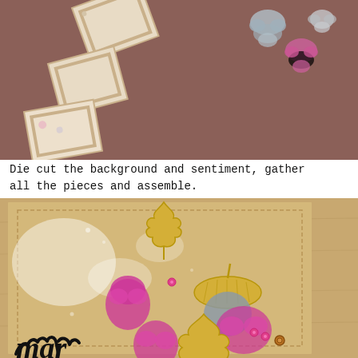[Figure (photo): Top-down view of craft supplies on a brown/mauve surface: paper frames with decorative edges, small watercolor leaf cutouts in muted blue, pink, and gray tones]
Die cut the background and sentiment, gather all the pieces and assemble.
[Figure (photo): Close-up of an assembled handmade greeting card on a wood surface. The card has a tan/kraft background with white paint splatters. Gold metallic leaf die cuts, pink watercolor acorn shapes, and a blue-gray acorn are arranged on top. Black script lettering is partially visible at the bottom. Pink sequins accent the design.]